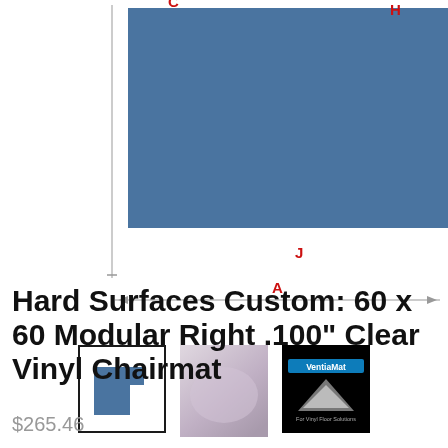[Figure (schematic): L-shaped blue chairmat diagram with red dimension labels C, H, I, J, A and measurement arrows]
[Figure (illustration): Three product thumbnails: first shows schematic diagram of mat shape, second shows photo of clear vinyl chairmat, third shows Ventia Mat brand logo on black background]
Hard Surfaces Custom: 60 x 60 Modular Right .100" Clear Vinyl Chairmat
$265.46